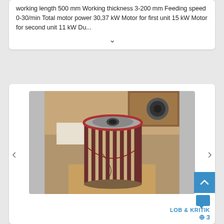working length 500 mm Working thickness 3-200 mm Feeding speed 0-30/min Total motor power 30,37 kW Motor for first unit 15 kW Motor for second unit 11 kW Du...
[Figure (photo): Photo of an industrial cylindrical abrasive/brush roller with red metal flange on top, composed of layered abrasive strips, sitting on a workshop floor]